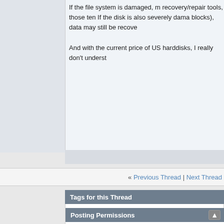If the file system is damaged, most recovery/repair tools, those tend... If the disk is also severely dama blocks), data may still be recove...
And with the current price of US harddisks, I really don't understa...
« Previous Thread | Next Thread »
Tags for this Thread
boot, boot error, knoppix, retrieve files, windows
View Tag Cloud
Posting Permissions
You may not post new threads
You may not post replies
You may not post attachments
BB code is On
Smilies are On
[IMG] code is On
[VIDEO] code is On
HTML code is Off